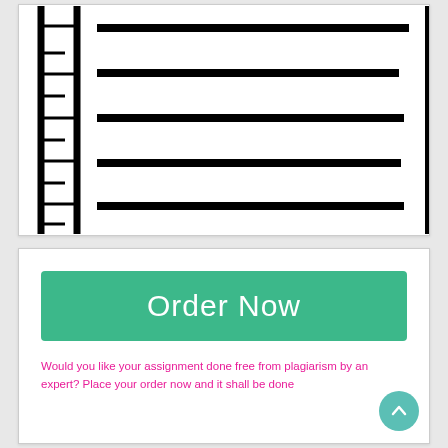[Figure (illustration): Illustration of a lined notebook page with a spiral binding on the left side. The page shows 6 horizontal black lines representing text lines on white paper, with a vertical margin line and spiral coil tabs visible on the left.]
[Figure (other): A teal/green rounded rectangle button labeled 'Order Now' in white text]
Would you like your assignment done free from plagiarism by an expert? Place your order now and it shall be done